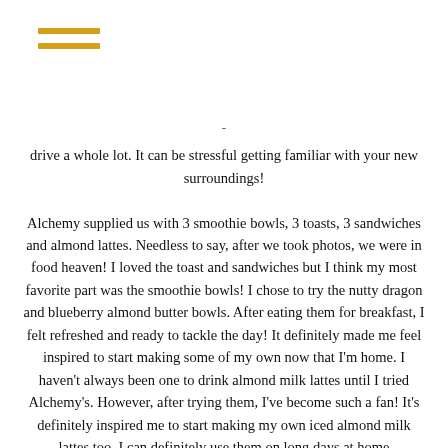[Figure (other): Hamburger menu icon with two horizontal golden/yellow lines]
- drive a whole lot. It can be stressful getting familiar with your new surroundings!

Alchemy supplied us with 3 smoothie bowls, 3 toasts, 3 sandwiches and almond lattes. Needless to say, after we took photos, we were in food heaven! I loved the toast and sandwiches but I think my most favorite part was the smoothie bowls! I chose to try the nutty dragon and blueberry almond butter bowls. After eating them for breakfast, I felt refreshed and ready to tackle the day! It definitely made me feel inspired to start making some of my own now that I'm home. I haven't always been one to drink almond milk lattes until I tried Alchemy's. However, after trying them, I've become such a fan! It's definitely inspired me to start making my own iced almond milk lattes too. I can definitely use them on long days at home